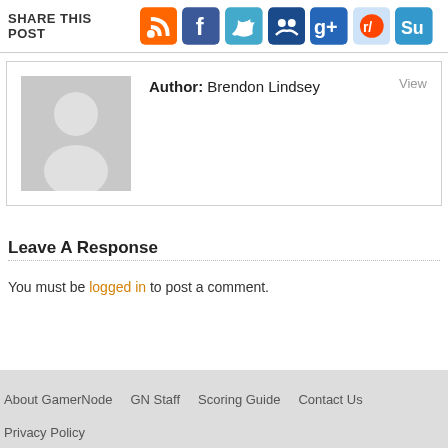SHARE THIS POST
[Figure (screenshot): Row of social media sharing icons: RSS (orange), Facebook (blue), Twitter (cyan), MySpace (blue), Google+ (blue), Reddit (orange/white), StumbleUpon (green)]
Author: Brendon Lindsey   View
[Figure (photo): Generic grey placeholder avatar with silhouette of a person]
Leave A Response
You must be logged in to post a comment.
About GamerNode   GN Staff   Scoring Guide   Contact Us   Privacy Policy